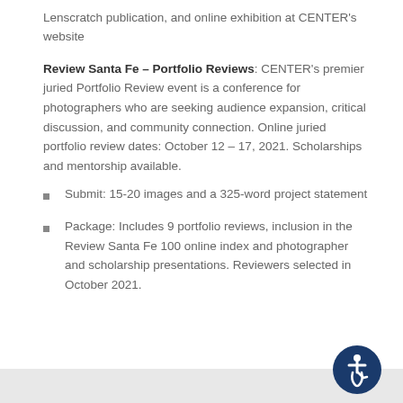Lenscratch publication, and online exhibition at CENTER's website
Review Santa Fe – Portfolio Reviews: CENTER's premier juried Portfolio Review event is a conference for photographers who are seeking audience expansion, critical discussion, and community connection. Online juried portfolio review dates: October 12 – 17, 2021. Scholarships and mentorship available.
Submit: 15-20 images and a 325-word project statement
Package: Includes 9 portfolio reviews, inclusion in the Review Santa Fe 100 online index and photographer and scholarship presentations. Reviewers selected in October 2021.